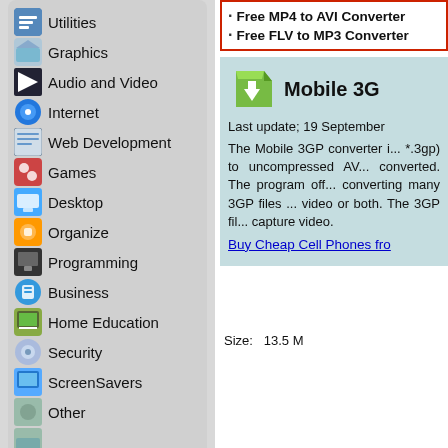Utilities
Graphics
Audio and Video
Internet
Web Development
Games
Desktop
Organize
Programming
Business
Home Education
Security
ScreenSavers
Other
Special Freewares
Free OGG to MP3 Converter
Free FLV to AVI Converter
Free WMA to MP3 Converter
Free MP4 to AVI Converter
Free FLV to MP3 Converter
Mobile 3G
Last update: 19 September
The Mobile 3GP converter i... *.3gp) to uncompressed AV... converted. The program off... converting many 3GP files ... video or both. The 3GP fil... capture video.
Buy Cheap Cell Phones fro
Please vote us if you find this useful.
Size: 13.5 M